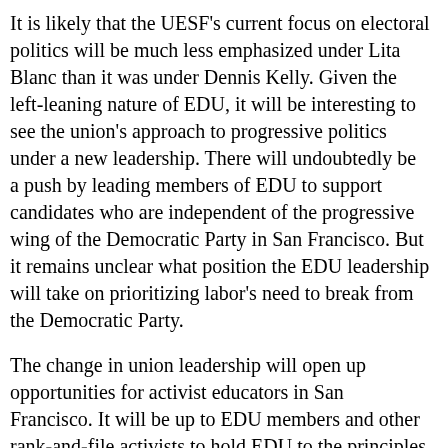It is likely that the UESF's current focus on electoral politics will be much less emphasized under Lita Blanc than it was under Dennis Kelly. Given the left-leaning nature of EDU, it will be interesting to see the union's approach to progressive politics under a new leadership. There will undoubtedly be a push by leading members of EDU to support candidates who are independent of the progressive wing of the Democratic Party in San Francisco. But it remains unclear what position the EDU leadership will take on prioritizing labor's need to break from the Democratic Party.
The change in union leadership will open up opportunities for activist educators in San Francisco. It will be up to EDU members and other rank-and-file activists to hold EDU to the principles of union democracy and member empowerment. All educators who are looking to fight for the union, the school district and the city that our students, families and communities deserve should play a part in the